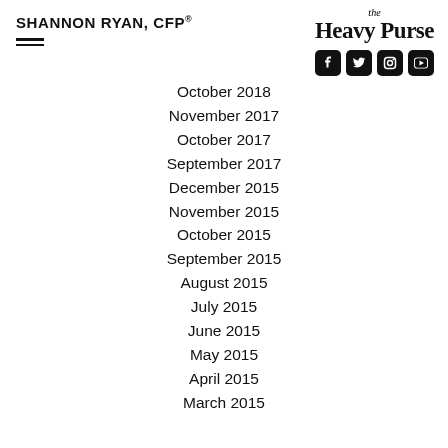SHANNON RYAN, CFP®
[Figure (logo): The Heavy Purse logo in handwritten/script style font with social media icons: Facebook, Twitter, Instagram, YouTube]
October 2018
November 2017
October 2017
September 2017
December 2015
November 2015
October 2015
September 2015
August 2015
July 2015
June 2015
May 2015
April 2015
March 2015